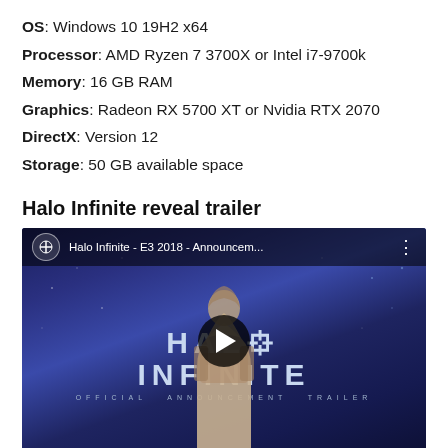OS: Windows 10 19H2 x64
Processor: AMD Ryzen 7 3700X or Intel i7-9700k
Memory: 16 GB RAM
Graphics: Radeon RX 5700 XT or Nvidia RTX 2070
DirectX: Version 12
Storage: 50 GB available space
Halo Infinite reveal trailer
[Figure (screenshot): YouTube embedded video thumbnail for Halo Infinite - E3 2018 - Announcement Trailer, showing the HALO INFINITE logo text on a dark blue space background with a Spartan figure silhouette, a play button overlay, and the YouTube top bar with video title.]